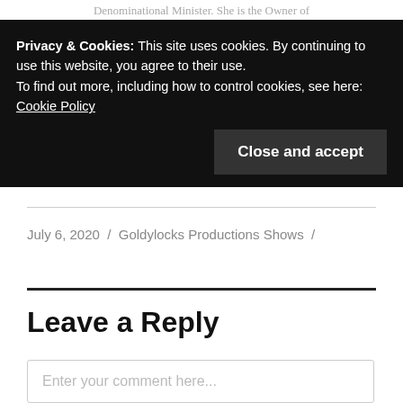Denominational Minister. She is the Owner of
Privacy & Cookies: This site uses cookies. By continuing to use this website, you agree to their use.
To find out more, including how to control cookies, see here:
Cookie Policy
Close and accept
July 6, 2020 / Goldylocks Productions Shows /
Leave a Reply
Enter your comment here...